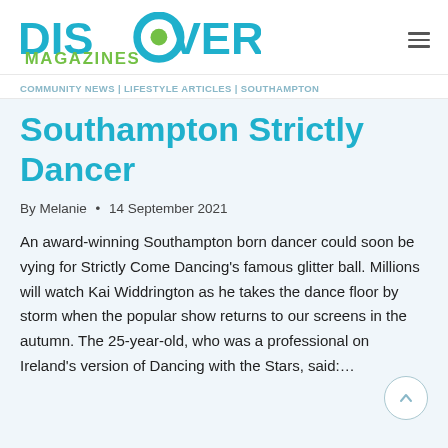Discover Magazines
COMMUNITY NEWS | LIFESTYLE ARTICLES | SOUTHAMPTON
Southampton Strictly Dancer
By Melanie • 14 September 2021
An award-winning Southampton born dancer could soon be vying for Strictly Come Dancing's famous glitter ball. Millions will watch Kai Widdrington as he takes the dance floor by storm when the popular show returns to our screens in the autumn. The 25-year-old, who was a professional on Ireland's version of Dancing with the Stars, said:…